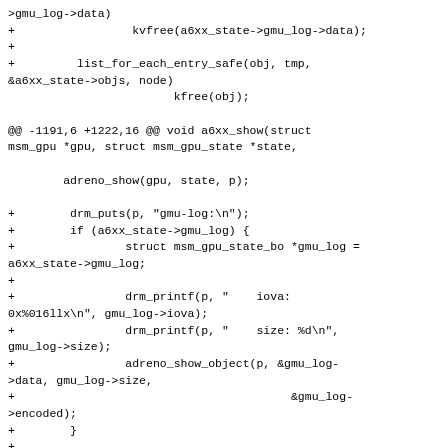>gmu_log->data)
+                 kvfree(a6xx_state->gmu_log->data);
+
+         list_for_each_entry_safe(obj, tmp,
&a6xx_state->objs, node)
                         kfree(obj);

@@ -1191,6 +1222,16 @@ void a6xx_show(struct msm_gpu *gpu, struct msm_gpu_state *state,

         adreno_show(gpu, state, p);

+         drm_puts(p, "gmu-log:\n");
+         if (a6xx_state->gmu_log) {
+                 struct msm_gpu_state_bo *gmu_log =
a6xx_state->gmu_log;
+
+                 drm_printf(p, "    iova:
0x%016llx\n", gmu_log->iova);
+                 drm_printf(p, "    size: %d\n",
gmu_log->size);
+                 adreno_show_object(p, &gmu_log-
>data, gmu_log->size,
+                                         &gmu_log-
>encoded);
+         }
+
         drm_puts(p, "registers:\n");
         for (i = 0; i < a6xx_state->nr_registers;
i++) {